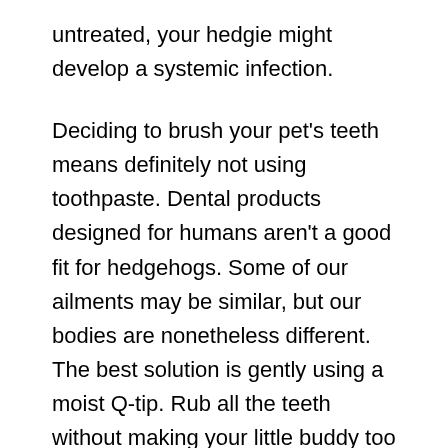untreated, your hedgie might develop a systemic infection.
Deciding to brush your pet's teeth means definitely not using toothpaste. Dental products designed for humans aren't a good fit for hedgehogs. Some of our ailments may be similar, but our bodies are nonetheless different. The best solution is gently using a moist Q-tip. Rub all the teeth without making your little buddy too stressed or anxious. Nevertheless, spotting problems mean finding doctors. Strong tartar buildup can't be combated at home. You have to see a professional for that procedure.
Urinary tract problems